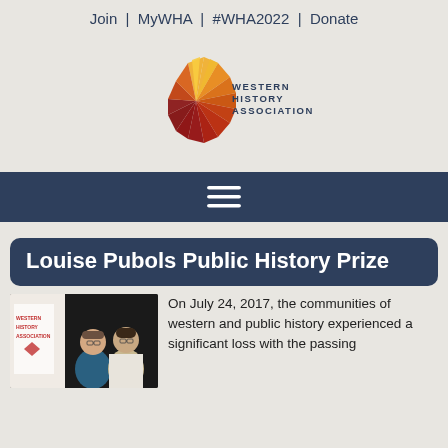Join  |  MyWHA  |  #WHA2022  |  Donate
[Figure (logo): Western History Association logo — stylized sun/feather burst in orange, gold, and red gradient with text 'WESTERN HISTORY ASSOCIATION' to the right]
[Figure (infographic): Hamburger menu icon (three horizontal white lines on dark navy background)]
Louise Pubols Public History Prize
[Figure (photo): Two people posing in front of a Western History Association banner — a woman in a blue top and a man in a white shirt and tan jacket, both wearing glasses]
On July 24, 2017, the communities of western and public history experienced a significant loss with the passing